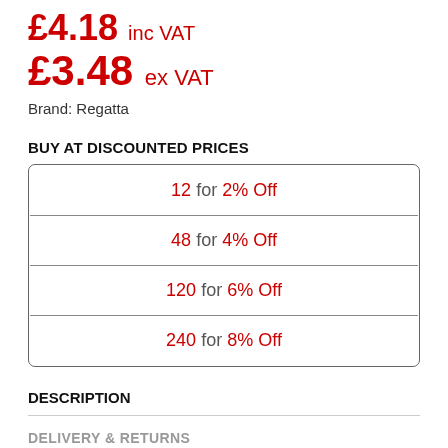£4.18 inc VAT
£3.48 ex VAT
Brand: Regatta
BUY AT DISCOUNTED PRICES
| 12 for 2% Off |
| 48 for 4% Off |
| 120 for 6% Off |
| 240 for 8% Off |
DESCRIPTION
DELIVERY & RETURNS